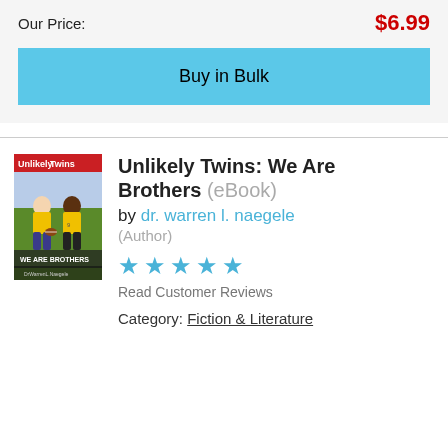Our Price:
$6.99
Buy in Bulk
[Figure (illustration): Book cover of 'Unlikely Twins: We Are Brothers' showing two boys in yellow soccer jerseys, one white and one Black, on a sports field. Title 'Unlikely Twins' in red at top, 'WE ARE BROTHERS' at bottom.]
Unlikely Twins: We Are Brothers (eBook)
by dr. warren l. naegele (Author)
★★★★★
Read Customer Reviews
Category: Fiction & Literature